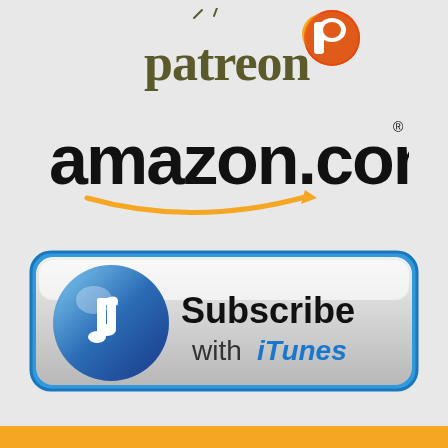[Figure (logo): Patreon logo with text 'patreon' in dark olive/green color and orange P circle icon]
[Figure (logo): amazon.com logo in black bold text with orange smile/arrow underneath]
[Figure (logo): Subscribe with iTunes button - rounded rectangle with blue border, gradient background, iTunes music note icon on left, text 'Subscribe with iTunes' on right]
[Figure (other): Orange/gold bar at the very bottom of the page, partially visible]